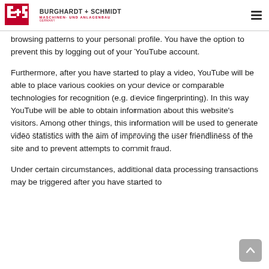Burghardt + Schmidt Maschinen- und Anlagenbau
browsing patterns to your personal profile. You have the option to prevent this by logging out of your YouTube account.
Furthermore, after you have started to play a video, YouTube will be able to place various cookies on your device or comparable technologies for recognition (e.g. device fingerprinting). In this way YouTube will be able to obtain information about this website's visitors. Among other things, this information will be used to generate video statistics with the aim of improving the user friendliness of the site and to prevent attempts to commit fraud.
Under certain circumstances, additional data processing transactions may be triggered after you have started to play a YouTube video, which we cannot control.